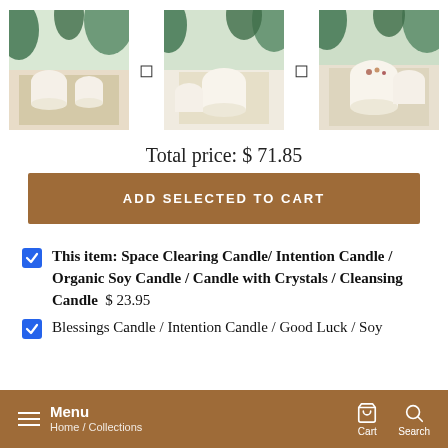[Figure (photo): Three product thumbnail photos of soy candles with plants in background, with navigation arrows between them]
Total price: $ 71.85
ADD SELECTED TO CART
This item: Space Clearing Candle/ Intention Candle / Organic Soy Candle / Candle with Crystals / Cleansing Candle  $ 23.95
Blessings Candle / Intention Candle / Good Luck / Soy
Menu  Home / Collections  Cart  Search